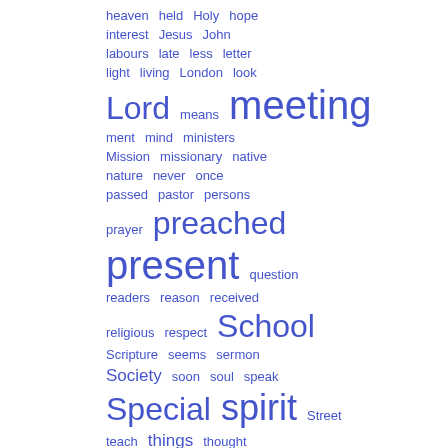[Figure (infographic): Word cloud showing various terms in blue at different font sizes, arranged in rows on the right half of the page. Words visible include: heaven, held, Holy, hope, interest, Jesus, John, labours, late, less, letter, light, living, London, look, Lord, means, meeting, ment, mind, ministers, Mission, missionary, native, nature, never, once, passed, pastor, persons, prayer, preached, present, question, readers, reason, received, religious, respect, School, Scripture, seems, sermon, Society, soon, soul, speak, Special, spirit, Street, teach, things, thought, tion, true, truth, upto]